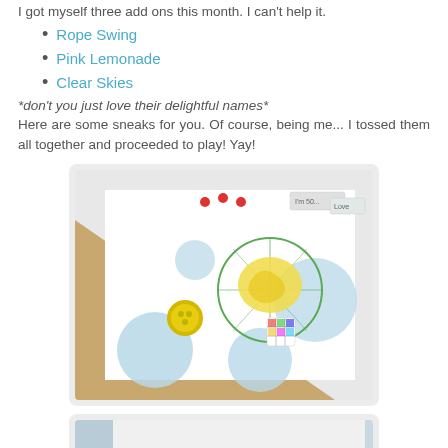I got myself three add ons this month. I can't help it.
Rope Swing
Pink Lemonade
Clear Skies
*don't you just love their delightful names*
Here are some sneaks for you. Of course, being me... I tossed them all together and proceeded to play! Yay!
[Figure (photo): Close-up of a handmade card with blue glitter circle shapes, a lemon slice design, decorative buttons/embellishments, and small text labels]
[Figure (photo): Partial view of another handmade card with blue background, kraft cardstock, yellow circular embellishment, and pearl pin]